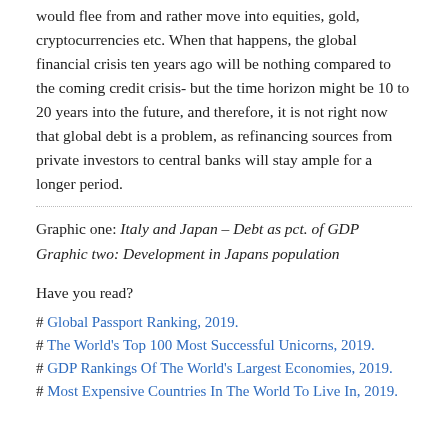would flee from and rather move into equities, gold, cryptocurrencies etc. When that happens, the global financial crisis ten years ago will be nothing compared to the coming credit crisis- but the time horizon might be 10 to 20 years into the future, and therefore, it is not right now that global debt is a problem, as refinancing sources from private investors to central banks will stay ample for a longer period.
Graphic one: Italy and Japan – Debt as pct. of GDP
Graphic two: Development in Japans population
Have you read?
# Global Passport Ranking, 2019.
# The World's Top 100 Most Successful Unicorns, 2019.
# GDP Rankings Of The World's Largest Economies, 2019.
# Most Expensive Countries In The World To Live In, 2019.